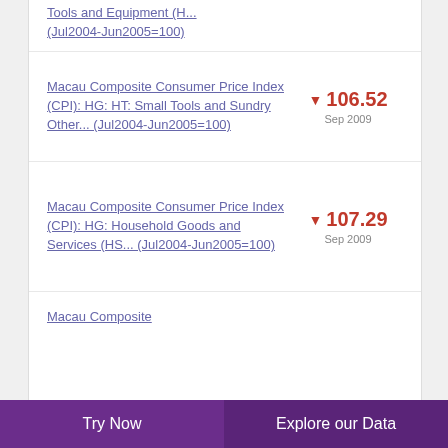Tools and Equipment (H... (Jul2004-Jun2005=100)
Macau Composite Consumer Price Index (CPI): HG: HT: Small Tools and Sundry Other... (Jul2004-Jun2005=100)
Macau Composite Consumer Price Index (CPI): HG: Household Goods and Services (HS... (Jul2004-Jun2005=100)
Macau Composite
Try Now   Explore our Data